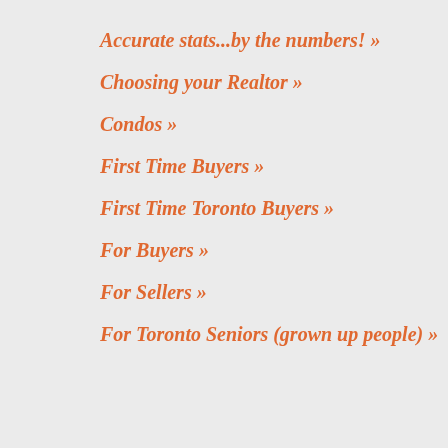Accurate stats...by the numbers! »
Choosing your Realtor »
Condos »
First Time Buyers »
First Time Toronto Buyers »
For Buyers »
For Sellers »
For Toronto Seniors (grown up people) »